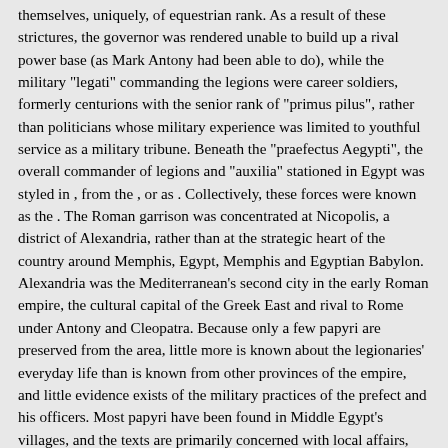themselves, uniquely, of equestrian rank. As a result of these strictures, the governor was rendered unable to build up a rival power base (as Mark Antony had been able to do), while the military "legati" commanding the legions were career soldiers, formerly centurions with the senior rank of "primus pilus", rather than politicians whose military experience was limited to youthful service as a military tribune. Beneath the "praefectus Aegypti", the overall commander of legions and "auxilia" stationed in Egypt was styled in , from the , or as . Collectively, these forces were known as the . The Roman garrison was concentrated at Nicopolis, a district of Alexandria, rather than at the strategic heart of the country around Memphis, Egypt, Memphis and Egyptian Babylon. Alexandria was the Mediterranean's second city in the early Roman empire, the cultural capital of the Greek East and rival to Rome under Antony and Cleopatra. Because only a few papyri are preserved from the area, little more is known about the legionaries' everyday life than is known from other provinces of the empire, and little evidence exists of the military practices of the prefect and his officers. Most papyri have been found in Middle Egypt's villages, and the texts are primarily concerned with local affairs, rarely giving space to high politics and military matters. Not much is known about the military encampments of